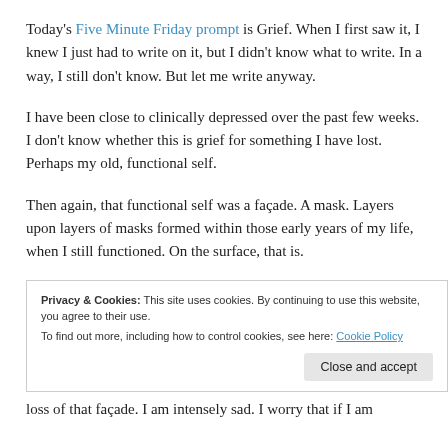Today's Five Minute Friday prompt is Grief. When I first saw it, I knew I just had to write on it, but I didn't know what to write. In a way, I still don't know. But let me write anyway.
I have been close to clinically depressed over the past few weeks. I don't know whether this is grief for something I have lost. Perhaps my old, functional self.
Then again, that functional self was a façade. A mask. Layers upon layers of masks formed within those early years of my life, when I still functioned. On the surface, that is.
Privacy & Cookies: This site uses cookies. By continuing to use this website, you agree to their use.
To find out more, including how to control cookies, see here: Cookie Policy
loss of that façade. I am intensely sad. I worry that if I am